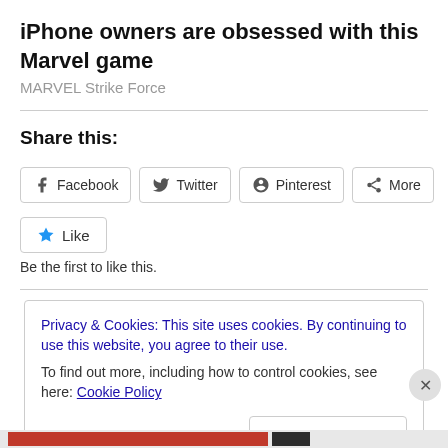iPhone owners are obsessed with this Marvel game
MARVEL Strike Force
Share this:
[Figure (other): Share buttons: Facebook, Twitter, Pinterest, More]
[Figure (other): Like button with star icon]
Be the first to like this.
Privacy & Cookies: This site uses cookies. By continuing to use this website, you agree to their use.
To find out more, including how to control cookies, see here: Cookie Policy